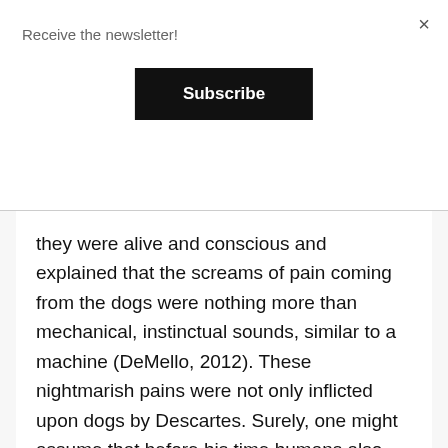Receive the newsletter!
Subscribe
×
they were alive and conscious and explained that the screams of pain coming from the dogs were nothing more than mechanical, instinctual sounds, similar to a machine (DeMello, 2012). These nightmarish pains were not only inflicted upon dogs by Descartes. Surely, one might assume that before his time humans also did not acknowledge dogs as persons and treated them poorly. Even to this day,